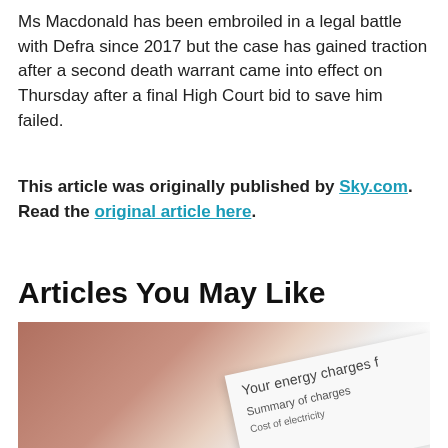Ms Macdonald has been embroiled in a legal battle with Defra since 2017 but the case has gained traction after a second death warrant came into effect on Thursday after a final High Court bid to save him failed.
This article was originally published by Sky.com. Read the original article here.
Articles You May Like
[Figure (photo): Blurred photo of a person's face near an energy bill document showing 'Your energy charges', 'Summary of charges', 'Cost of electricity']